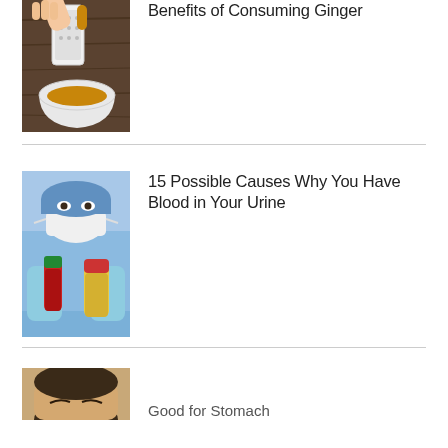[Figure (photo): Hands grating ginger into a bowl on a wooden surface]
Benefits of Consuming Ginger
[Figure (photo): Medical professional in mask and gloves holding two specimen vials, one red and one yellow]
15 Possible Causes Why You Have Blood in Your Urine
[Figure (photo): Partial photo at the bottom of the page, person visible from forehead up]
Good for Stomach